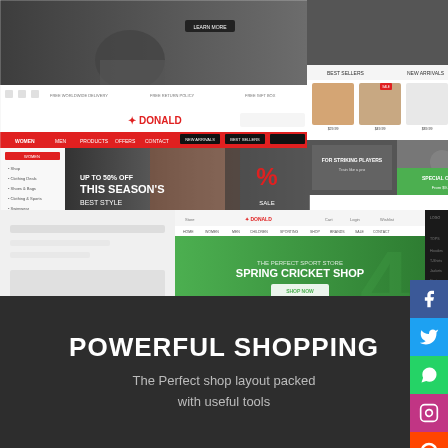[Figure (screenshot): Collage of e-commerce website screenshots showing sports/fitness themed online shop layouts including DONALD theme with hero banners, product grids, and navigation menus]
[Figure (infographic): Social media sharing sidebar with Facebook, Twitter, WhatsApp, Instagram, Reddit, and Email icons on colored backgrounds]
POWERFUL SHOPPING
The Perfect shop layout packed with useful tools